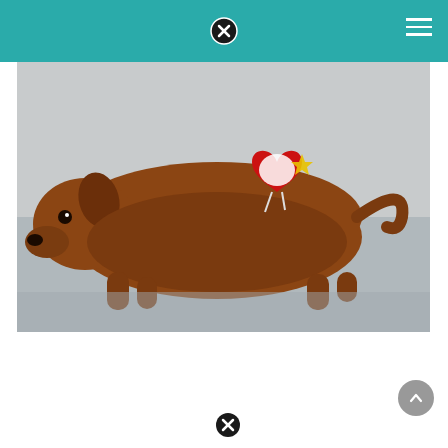Navigation header with close button and hamburger menu
[Figure (photo): A brown dachshund Beanie Baby stuffed animal toy lying on a grey textured surface, with a red Ty heart tag visible on its neck]
babies
Weenie The Dog Beanie Baby Worth
VASELINE  JANUARY 30, 2022  BABY  BEANIE  WEENIE